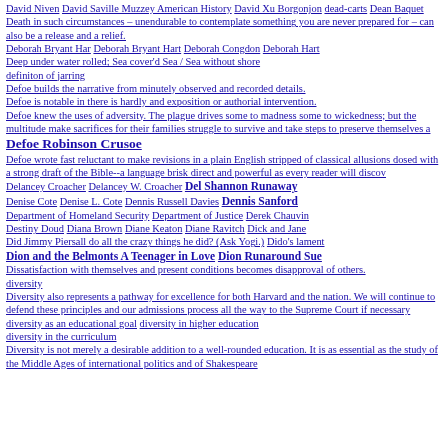David Niven  David Saville Muzzey American History  David Xu Borgonjon  dead-carts  Dean Baquet
Death in such circumstances – unendurable to contemplate something you are never prepared for – can also be a release and a relief.
Deborah Bryant Har  Deborah Bryant Hart  Deborah Congdon  Deborah Hart
Deep under water rolled; Sea cover'd Sea / Sea without shore
definiton of jarring
Defoe builds the narrative from minutely observed and recorded details.
Defoe is notable in there is hardly and exposition or authorial intervention.
Defoe knew the uses of adversity. The plague drives some to madness some to wickedness; but the multitude make sacrifices for their families struggle to survive and take steps to preserve themselves a
Defoe Robinson Crusoe
Defoe wrote fast reluctant to make revisions in a plain English stripped of classical allusions dosed with a strong draft of the Bible--a language brisk direct and powerful as every reader will discov
Delancey Croacher  Delancey W. Croacher  Del Shannon Runaway
Denise Cote  Denise L. Cote  Dennis Russell Davies  Dennis Sanford
Department of Homeland Security  Department of Justice  Derek Chauvin
Destiny Doud  Diana Brown  Diane Keaton  Diane Ravitch  Dick and Jane
Did Jimmy Piersall do all the crazy things he did? (Ask Yogi.)  Dido's lament
Dion and the Belmonts A Teenager in Love  Dion Runaround Sue
Dissatisfaction with themselves and present conditions becomes disapproval of others.
diversity
Diversity also represents a pathway for excellence for both Harvard and the nation. We will continue to defend these principles and our admissions process all the way to the Supreme Court if necessary
diversity as an educational goal  diversity in higher education
diversity in the curriculum
Diversity is not merely a desirable addition to a well-rounded education. It is as essential as the study of the Middle Ages of international politics and of Shakespeare